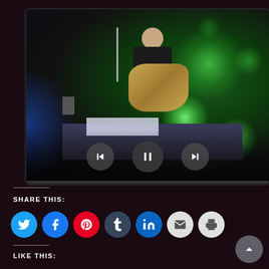[Figure (screenshot): A media player showing a concert photo of a guitarist performing on stage with green stage lights, with playback controls (previous, pause, next) overlaid at the bottom center.]
SHARE THIS:
[Figure (infographic): A row of social share buttons: Twitter (blue bird), Facebook (blue f), Pinterest (red P), Tumblr (dark blue t), LinkedIn (blue in), Email (grey envelope), Print (grey printer)]
LIKE THIS: